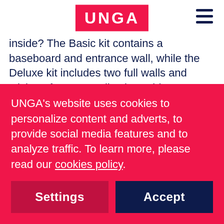UNGA
inside? The Basic kit contains a baseboard and entrance wall, while the Deluxe kit includes two full walls and stickers for personalization. Kids can now upgrade their own building block creation, as Woolworths Bricks are also compatible with bricks from other brands.

Charlotte Healey, our Head of Strategy at UNGA Pacific, shared her excitement about our
UNGA's website uses cookies to personalize content and adverts, to provide social media features and to analyze traffic. To learn more, please read our cookies policy.
Settings
Accept